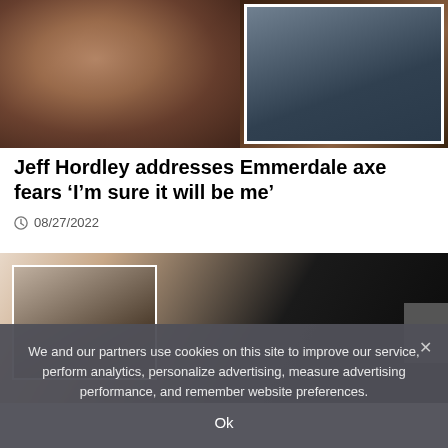[Figure (photo): Composite image: background shows a man with a ring on his finger resting his chin on his hand, wearing a plaid shirt; inset photo in upper right shows a middle-aged man with a beard wearing a dark shirt, outdoors.]
Jeff Hordley addresses Emmerdale axe fears ‘I’m sure it will be me’
08/27/2022
[Figure (photo): Composite image: large close-up of a woman with dark hair and glasses; smaller inset photo shows a woman with dark hair in a car.]
We and our partners use cookies on this site to improve our service, perform analytics, personalize advertising, measure advertising performance, and remember website preferences.
Ok